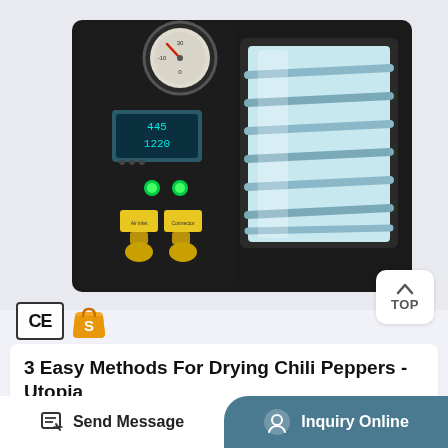[Figure (photo): Black vacuum oven/chamber with digital display showing 445 and 1220, pressure gauge on top, two yellow valve connectors at bottom, green indicator lights, and open door showing illuminated interior shelves]
CE
[Figure (logo): Orange/gold shopping bag S logo badge]
3 Easy Methods For Drying Chili Peppers - Utopia
How to roast poblano peppers. Step 1: Line a large baking sheet with aluminum foil for easy cleanup and
Send Message
Inquiry Online